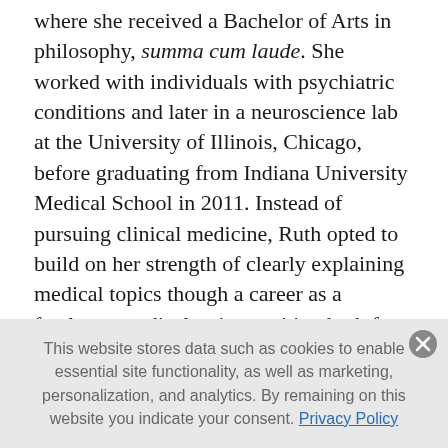where she received a Bachelor of Arts in philosophy, summa cum laude. She worked with individuals with psychiatric conditions and later in a neuroscience lab at the University of Illinois, Chicago, before graduating from Indiana University Medical School in 2011. Instead of pursuing clinical medicine, Ruth opted to build on her strength of clearly explaining medical topics though a career as a freelance medical writer, writing both for lay people and for health professionals. She writes across the biomedical sciences, but holds strong interests in rheumatology, neurology, autoimmune diseases, genetics, and the intersection of broader social, cultural and emotional contexts with biomedical topics. Ruth now lives in
This website stores data such as cookies to enable essential site functionality, as well as marketing, personalization, and analytics. By remaining on this website you indicate your consent. Privacy Policy